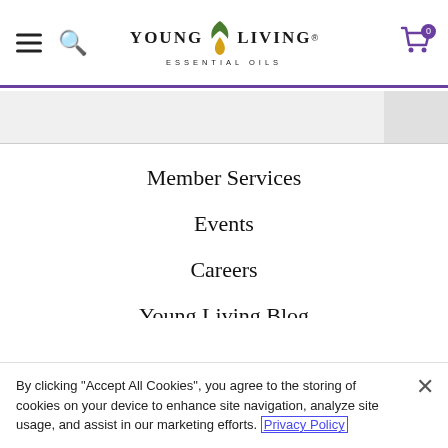[Figure (logo): Young Living Essential Oils logo with green leaf and yellow droplet icon]
Member Services
Events
Careers
Young Living Blog
D. Gary Young Blog
Young Living Foundation
By clicking "Accept All Cookies", you agree to the storing of cookies on your device to enhance site navigation, analyze site usage, and assist in our marketing efforts. Privacy Policy